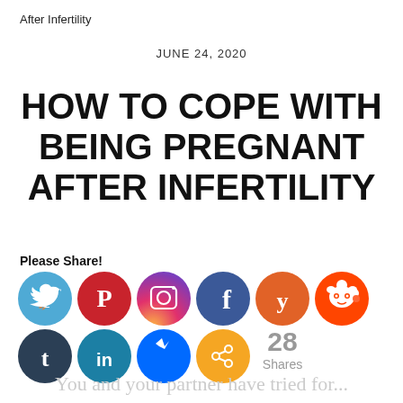After Infertility
JUNE 24, 2020
HOW TO COPE WITH BEING PREGNANT AFTER INFERTILITY
Please Share!
[Figure (infographic): Social media share icons in two rows: Twitter, Pinterest, Instagram, Facebook, Yummly, Reddit (top row); Tumblr, LinkedIn, Messenger, Share/generic (bottom row); with 28 Shares count]
You and your partner have tried for...